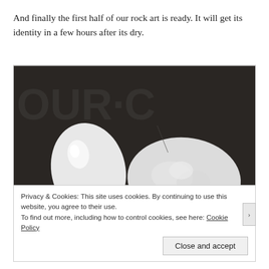And finally the first half of our rock art is ready. It will get its identity in a few hours after its dry.
[Figure (photo): Two white-painted smooth stones resting on a dark surface with text markings. The left stone appears shiny with a smooth white coat; the right stone is larger with a textured white paint coat still wet.]
Privacy & Cookies: This site uses cookies. By continuing to use this website, you agree to their use.
To find out more, including how to control cookies, see here: Cookie Policy